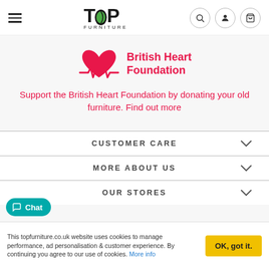TOP FURNITURE — navigation header with hamburger menu, logo, search, account, and basket icons
[Figure (logo): British Heart Foundation logo: heart with ECG line beneath, in red/pink, with text 'British Heart Foundation' in red bold]
Support the British Heart Foundation by donating your old furniture. Find out more
CUSTOMER CARE
MORE ABOUT US
OUR STORES
Chat
This topfurniture.co.uk website uses cookies to manage performance, ad personalisation & customer experience. By continuing you agree to our use of cookies. More info